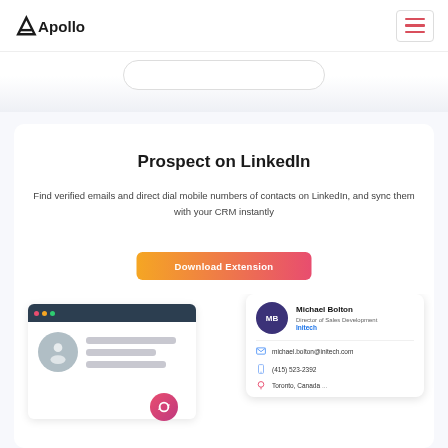Apollo
Prospect on LinkedIn
Find verified emails and direct dial mobile numbers of contacts on LinkedIn, and sync them with your CRM instantly
[Figure (screenshot): Download Extension button with gradient orange-to-pink background and white bold text]
[Figure (screenshot): Mock UI showing a LinkedIn profile browser window on the left with a user avatar placeholder and profile lines, overlaid with an Apollo contact card on the right showing Michael Bolton, Director of Sales Development at Initech, with email michael.bolton@initech.com, phone (415) 523-2392, and location Toronto, Canada]